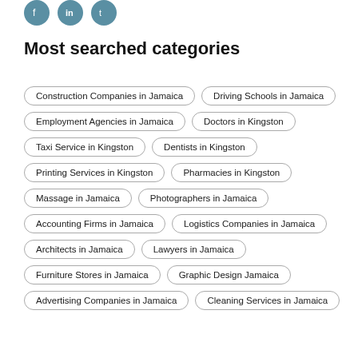Most searched categories
Construction Companies in Jamaica
Driving Schools in Jamaica
Employment Agencies in Jamaica
Doctors in Kingston
Taxi Service in Kingston
Dentists in Kingston
Printing Services in Kingston
Pharmacies in Kingston
Massage in Jamaica
Photographers in Jamaica
Accounting Firms in Jamaica
Logistics Companies in Jamaica
Architects in Jamaica
Lawyers in Jamaica
Furniture Stores in Jamaica
Graphic Design Jamaica
Advertising Companies in Jamaica
Cleaning Services in Jamaica